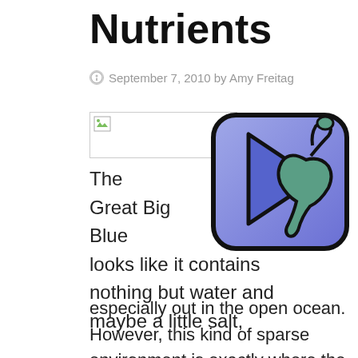Nutrients
September 7, 2010 by Amy Freitag
[Figure (illustration): Broken image placeholder on left; logo illustration of a blue rounded-square icon with a play-button triangle and a sea creature (Loch Ness monster silhouette) on the right]
The Great Big Blue looks like it contains nothing but water and maybe a little salt, especially out in the open ocean. However, this kind of sparse environment is exactly where the chemistry matters the most – it's a fine line between not enough, too much, and just right. Given this, there's no distinct myth here but an